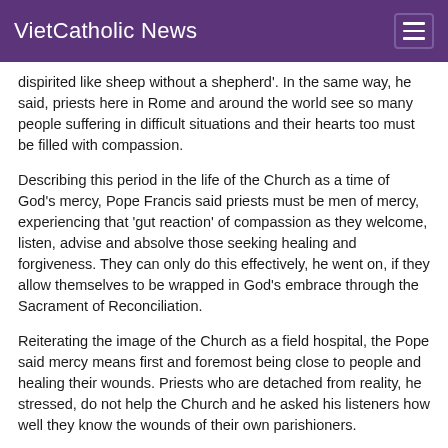VietCatholic News
dispirited like sheep without a shepherd'. In the same way, he said, priests here in Rome and around the world see so many people suffering in difficult situations and their hearts too must be filled with compassion.
Describing this period in the life of the Church as a time of God's mercy, Pope Francis said priests must be men of mercy, experiencing that 'gut reaction' of compassion as they welcome, listen, advise and absolve those seeking healing and forgiveness. They can only do this effectively, he went on, if they allow themselves to be wrapped in God's embrace through the Sacrament of Reconciliation.
Reiterating the image of the Church as a field hospital, the Pope said mercy means first and foremost being close to people and healing their wounds. Priests who are detached from reality, he stressed, do not help the Church and he asked his listeners how well they know the wounds of their own parishioners.